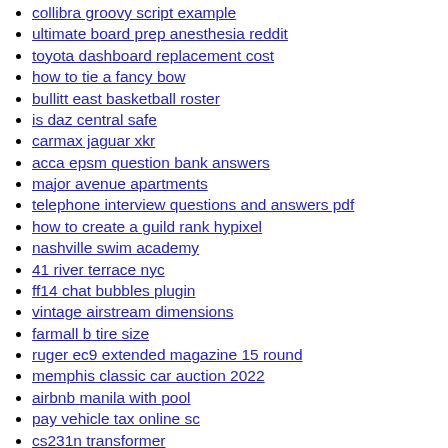collibra groovy script example
ultimate board prep anesthesia reddit
toyota dashboard replacement cost
how to tie a fancy bow
bullitt east basketball roster
is daz central safe
carmax jaguar xkr
acca epsm question bank answers
major avenue apartments
telephone interview questions and answers pdf
how to create a guild rank hypixel
nashville swim academy
41 river terrace nyc
ff14 chat bubbles plugin
vintage airstream dimensions
farmall b tire size
ruger ec9 extended magazine 15 round
memphis classic car auction 2022
airbnb manila with pool
pay vehicle tax online sc
cs231n transformer
albemarle nc news today
oossxx wireless camera setup
define dumbfound
how to know if someone deactivated or deleted their